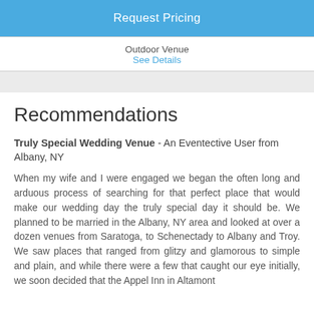Request Pricing
Outdoor Venue
See Details
Recommendations
Truly Special Wedding Venue - An Eventective User from Albany, NY
When my wife and I were engaged we began the often long and arduous process of searching for that perfect place that would make our wedding day the truly special day it should be. We planned to be married in the Albany, NY area and looked at over a dozen venues from Saratoga, to Schenectady to Albany and Troy. We saw places that ranged from glitzy and glamorous to simple and plain, and while there were a few that caught our eye initially, we soon decided that the Appel Inn in Altamont